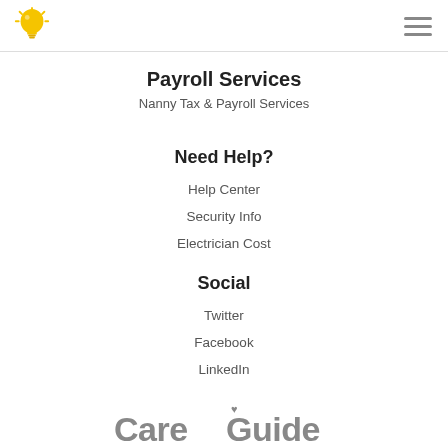[CareGuide lightbulb logo] [hamburger menu]
Payroll Services
Nanny Tax & Payroll Services
Need Help?
Help Center
Security Info
Electrician Cost
Social
Twitter
Facebook
LinkedIn
[Figure (logo): CareGuide logo with heart above the G, subtitle: A Family of Care Providers]
A Family of Care Providers